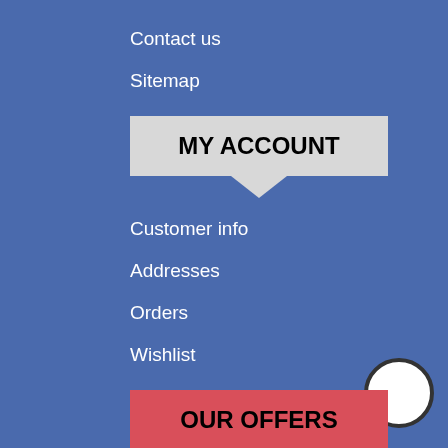Contact us
Sitemap
MY ACCOUNT
Customer info
Addresses
Orders
Wishlist
OUR OFFERS
New products
Recently viewed products